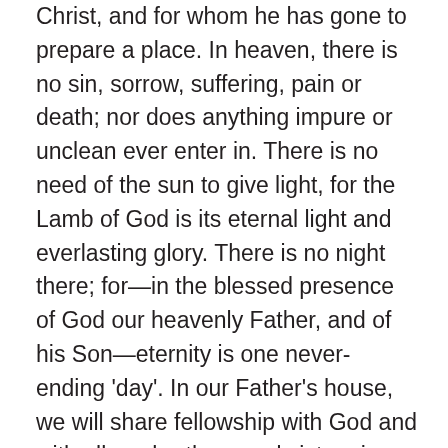Christ, and for whom he has gone to prepare a place. In heaven, there is no sin, sorrow, suffering, pain or death; nor does anything impure or unclean ever enter in. There is no need of the sun to give light, for the Lamb of God is its eternal light and everlasting glory. There is no night there; for—in the blessed presence of God our heavenly Father, and of his Son—eternity is one never-ending 'day'. In our Father's house, we will share fellowship with God and with all our brothers and sisters in Christ. Those in Christ whom we have loved on earth will meet with us again in heaven. Following the Lord's second coming; the resurrection of the dead and the subsequent reunion of glorified body and soul, the children of God will worship the Lamb and will enjoy everlasting peace and happiness in the new heaven and the new earth. Over this new creation, we will reign with Christ in his glory, for ever and ever.